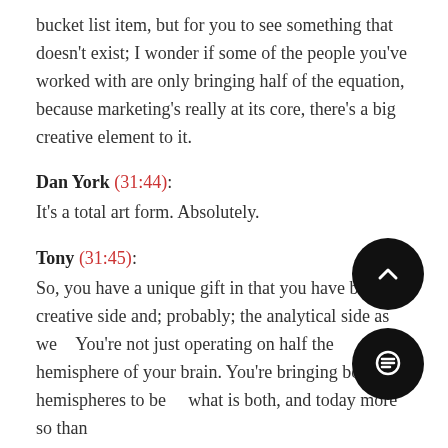bucket list item, but for you to see something that doesn't exist; I wonder if some of the people you've worked with are only bringing half of the equation, because marketing's really at its core, there's a big creative element to it.
Dan York (31:44): It's a total art form. Absolutely.
Tony (31:45): So, you have a unique gift in that you have both the creative side and; probably; the analytical side as well. You're not just operating on half the hemisphere of your brain. You're bringing both hemispheres to bear, what is both, and today more so than